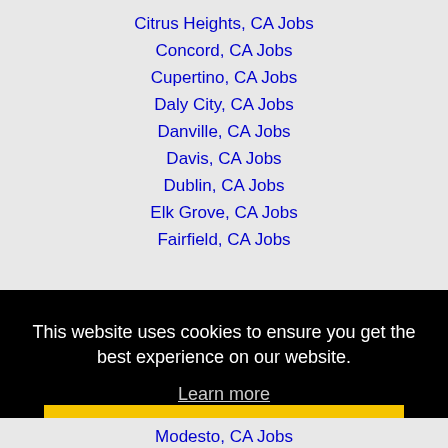Citrus Heights, CA Jobs
Concord, CA Jobs
Cupertino, CA Jobs
Daly City, CA Jobs
Danville, CA Jobs
Davis, CA Jobs
Dublin, CA Jobs
Elk Grove, CA Jobs
Fairfield, CA Jobs
This website uses cookies to ensure you get the best experience on our website.
Learn more
Got it!
Modesto, CA Jobs